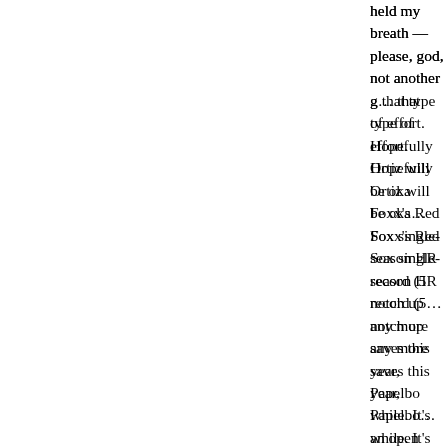held my breath — please, god, not another g… that type of effort. Hopefully Ortiz will be oka… Foxx's Red Sox single-season HR record (5… notch up any more saves this year, Papelbo… while. It's an open question as to whether the… strikeouts in tonight's game, but Curt will hit s… and luck, the Sox are, finally, a team with no… some weird, total eclipse string of wins it'll be… that's pretty much expected at this point.
So for those of you going to Thursday's gam… can't blame any of the guys who'll take the fi… Youks to Lowell. If Manny and Ortiz (and WM… either. (Fine: Coco's been a disappointment.… see him cry.) (You can boo Mike Timlin, but c… making those idiotic comments about the offe… for this team in '03, '04, and '05.)
I'm not kidding. Give them a standing O. Tru… yourself. We can — and I'm sure we will — g… soon enough.